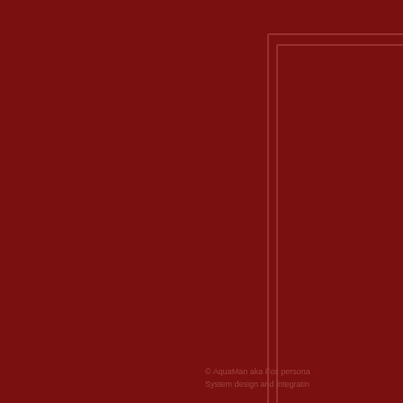[Figure (other): Dark crimson/maroon background with lighter-toned rectangular border lines in the upper-right quadrant forming an L-shaped corner outline.]
© AquaMan aka Fox persona System design and integratin